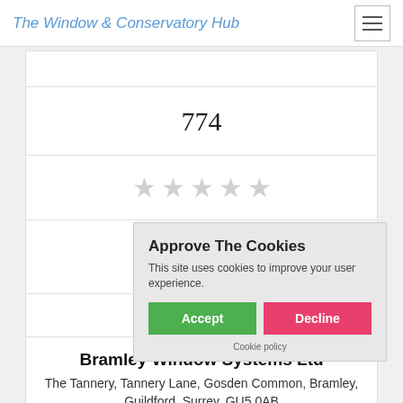The Window & Conservatory Hub
774
[Figure (other): Five empty star rating icons in light gray]
[Figure (other): Empty checkbox square]
Get a Q[uote]
Bramley Window Systems Ltd
The Tannery, Tannery Lane, Gosden Common, Bramley, Guildford, Surrey, GU5 0AB
Approve The Cookies
This site uses cookies to improve your user experience.
Accept
Decline
Cookie policy